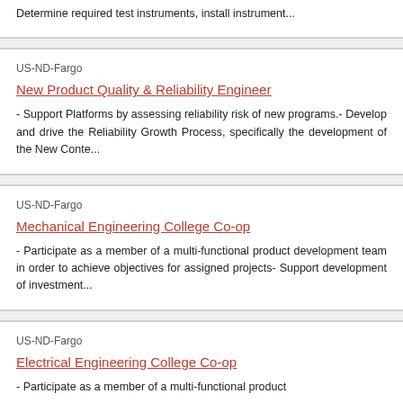Determine required test instruments, install instrument...
US-ND-Fargo
New Product Quality & Reliability Engineer
- Support Platforms by assessing reliability risk of new programs.- Develop and drive the Reliability Growth Process, specifically the development of the New Conte...
US-ND-Fargo
Mechanical Engineering College Co-op
- Participate as a member of a multi-functional product development team in order to achieve objectives for assigned projects- Support development of investment...
US-ND-Fargo
Electrical Engineering College Co-op
- Participate as a member of a multi-functional product